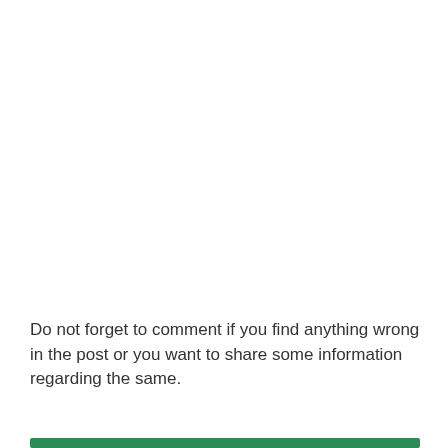Do not forget to comment if you find anything wrong in the post or you want to share some information regarding the same.